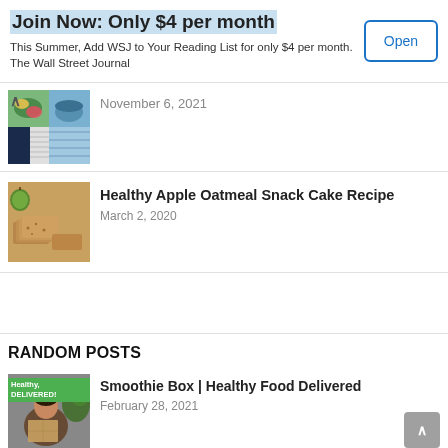Join Now: Only $4 per month
This Summer, Add WSJ to Your Reading List for only $4 per month. The Wall Street Journal
Open
November 6, 2021
Healthy Apple Oatmeal Snack Cake Recipe
March 2, 2020
RANDOM POSTS
Smoothie Box | Healthy Food Delivered
February 28, 2021